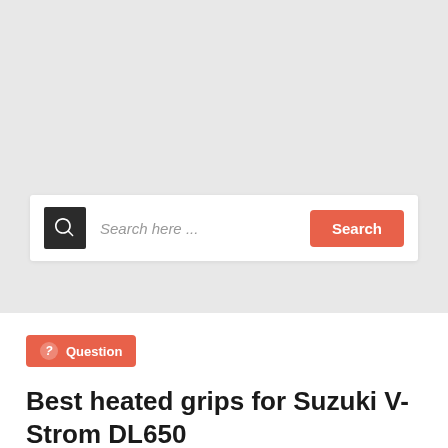[Figure (screenshot): Search bar with dark icon box on left showing magnifying glass, placeholder text 'Search here ...' in italic, and a coral/red 'Search' button on the right]
Question
Best heated grips for Suzuki V-Strom DL650
Hello guys, I have Suzuki V-Strom DL650 Which one is the best